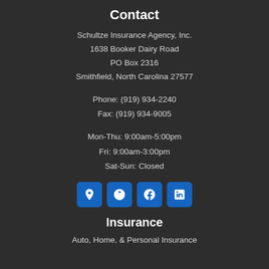Contact
Schultze Insurance Agency, Inc.
1638 Booker Dairy Road
PO Box 2316
Smithfield, North Carolina 27577
Phone: (919) 934-2240
Fax: (919) 934-9005
Mon-Thu: 9:00am-5:00pm
Fri: 9:00am-3:00pm
Sat-Sun: Closed
[Figure (infographic): Four blue square icon buttons: Google Maps pin, Yelp logo, Facebook logo, LinkedIn logo]
Insurance
Auto, Home, & Personal Insurance